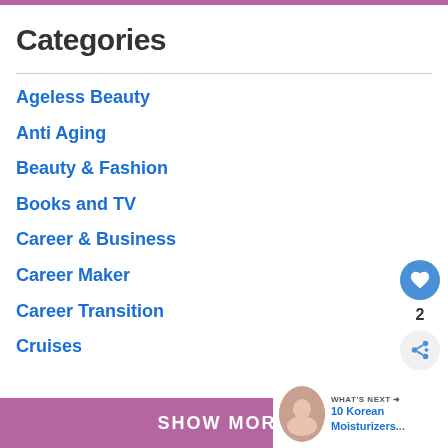Categories
Ageless Beauty
Anti Aging
Beauty & Fashion
Books and TV
Career & Business
Career Maker
Career Transition
Cruises
SHOW MORE
WHAT'S NEXT → 10 Korean Moisturizers...